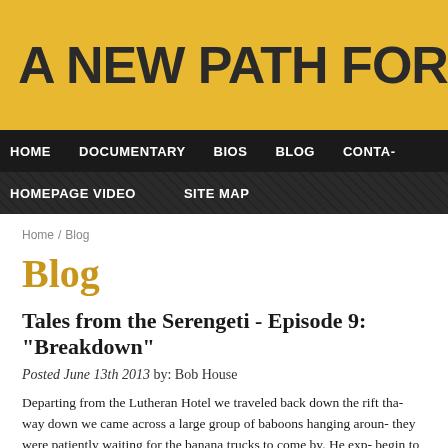A NEW PATH FOR THE SERENG-
HOME   DOCUMENTARY   BIOS   BLOG   CONTA-   HOMEPAGE VIDEO   SITE MAP
Home / Blog
Blog
Tales from the Serengeti - Episode 9: "Breakdown"
Posted June 13th 2013 by: Bob House
Departing from the Lutheran Hotel we traveled back down the rift tha- way down we came across a large group of baboons hanging aroun- they were patiently waiting for the banana trucks to come by. He exp- begin to slow down due to the steep grade some of the baboons leap- begin to not only feast on the cargo themselves but also toss bananas